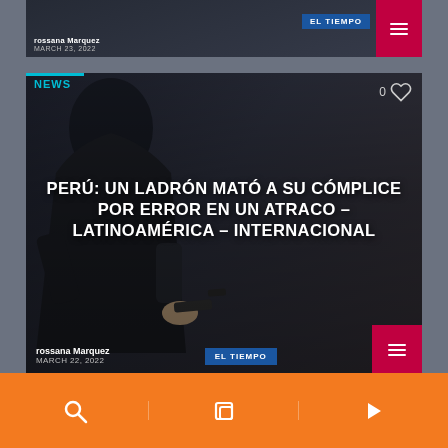[Figure (screenshot): Partial top news card showing rossana Marquez byline, MARCH 23, 2022 date, EL TIEMPO badge, and hamburger menu button on dark background]
[Figure (screenshot): News article card with dark background showing a person in black hoodie holding a gun. Tagged NEWS. Title: PERÚ: UN LADRÓN MATÓ A SU CÓMPLICE POR ERROR EN UN ATRACO – LATINOAMÉRICA – INTERNACIONAL. Byline: rossana Marquez, MARCH 22, 2022. EL TIEMPO badge visible. Heart icon with count 0.]
[Figure (screenshot): Orange bottom navigation bar with three icon buttons: search/magnifying glass, copy/layers icon, and play arrow icon]